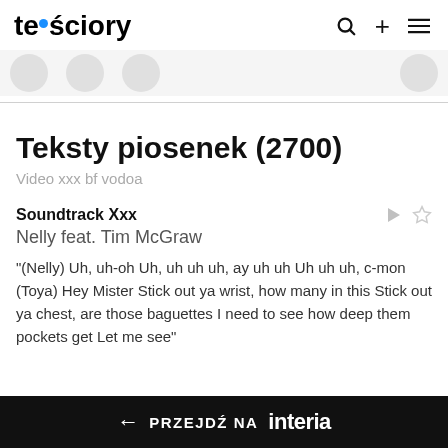tekściory
Teksty piosenek (2700)
Video xxx bf vodoa
Soundtrack Xxx
Nelly feat. Tim McGraw
"(Nelly) Uh, uh-oh Uh, uh uh uh, ay uh uh Uh uh uh, c-mon (Toya) Hey Mister Stick out ya wrist, how many in this Stick out ya chest, are those baguettes I need to see how deep them pockets get Let me see"
← PRZEJDŹ NA interia